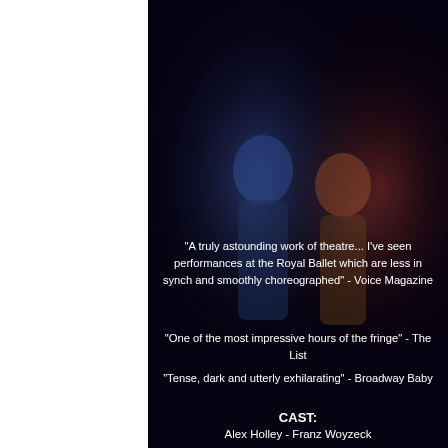★★★★★ - Broadway Baby
★★★★★ - Everything Theatre
★★★★ - ScotsGay
★★★★ - Fringe Biscuit
[Figure (photo): Two male performers on a dark stage lit with blue and red dramatic lighting, in a physical confrontation or choreographed fight scene, wearing shirts.]
"A truly astounding work of theatre... I've seen performances at the Royal Ballet which are less in synch and smoothly choreographed" - Voice Magazine
"One of the most impressive hours of the fringe" - The List
"Tense, dark and utterly exhilarating" - Broadway Baby
CAST:
Alex Holley - Franz Woyzeck